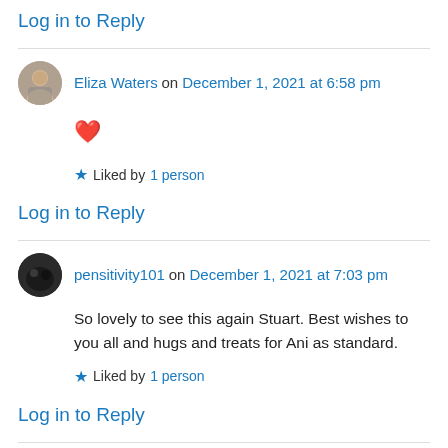Log in to Reply
Eliza Waters on December 1, 2021 at 6:58 pm
[Figure (illustration): Red heart emoji icon]
Liked by 1 person
Log in to Reply
pensitivity101 on December 1, 2021 at 7:03 pm
So lovely to see this again Stuart. Best wishes to you all and hugs and treats for Ani as standard.
Liked by 1 person
Log in to Reply